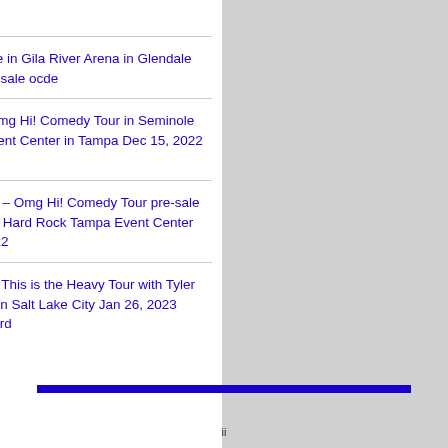2022
Under the Mistletoe in Gila River Arena in Glendale Dec 04, 2022 free presale ocde
George Lopez – Omg Hi! Comedy Tour in Seminole Hard Rock Tampa Event Center in Tampa Dec 15, 2022 Free presle ocde
free George Lopez – Omg Hi! Comedy Tour pre-sale password – Seminole Hard Rock Tampa Event Center in Tampa Dec 15, 2022
Mitchell Tenpenny: This is the Heavy Tour with Tyler Braden in The Union in Salt Lake City Jan 26, 2023 Free pre-sale password